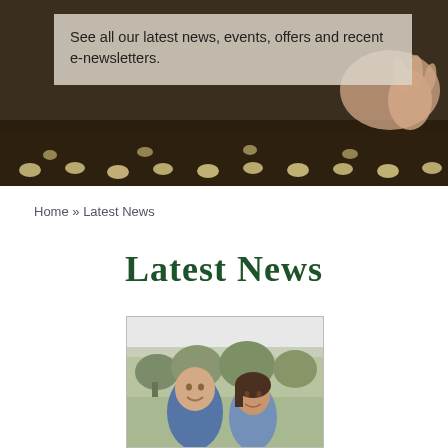[Figure (photo): Hero banner image of hands planting seeds in dark soil, with seeds visible in a row along the bottom, overlaid with a semi-transparent text box.]
See all our latest news, events, offers and recent e-newsletters.
Home » Latest News
Latest News
[Figure (photo): Photo of two people smiling outdoors with trees and garden in the background.]